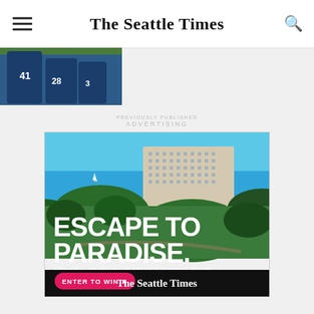The Seattle Times
[Figure (photo): Sports photo showing baseball players with jersey numbers 41, 28, 3 visible, partially cropped at top left]
ADVERTISING
[Figure (photo): Advertisement for The Seattle Times showing aerial view of Maui's Kaanapali Beach hotel and resort with text 'ESCAPE TO PARADISE. Win a five-day holiday to Maui's Kaanapali Beach.' and a pink 'ENTER TO WIN' button, The Seattle Times logo at bottom on black bar]